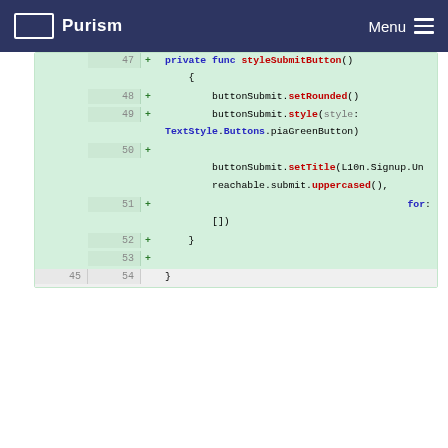Purism  Menu
[Figure (screenshot): Code diff view showing Swift code additions with line numbers 47-54. Added lines include styleSubmitButton() function with buttonSubmit.setRounded(), buttonSubmit.style(style: TextStyle.Buttons.piaGreenButton), buttonSubmit.setTitle(L10n.Signup.Unreachable.submit.uppercased(), for: []) and closing braces.]
Please register or sign in to comment